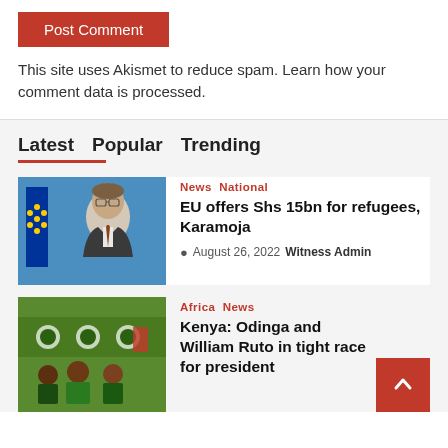[Figure (other): Red Post Comment button]
This site uses Akismet to reduce spam. Learn how your comment data is processed.
Latest  Popular  Trending
[Figure (photo): EU official man in suit with EU flag in background]
News  National
EU offers Shs 15bn for refugees, Karamoja
August 26, 2022  Witness Admin
[Figure (photo): People in green attire at Africa event]
Africa  News
Kenya: Odinga and William Ruto in tight race for president